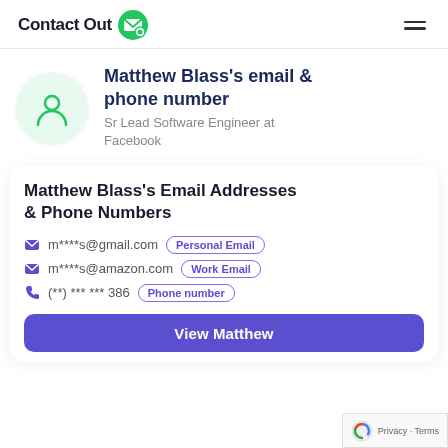ContactOut
Matthew Blass's email & phone number
Sr Lead Software Engineer at Facebook
Matthew Blass's Email Addresses & Phone Numbers
m****s@gmail.com  Personal Email
m****s@amazon.com  Work Email
(**) *** *** 386  Phone number
View Matthew